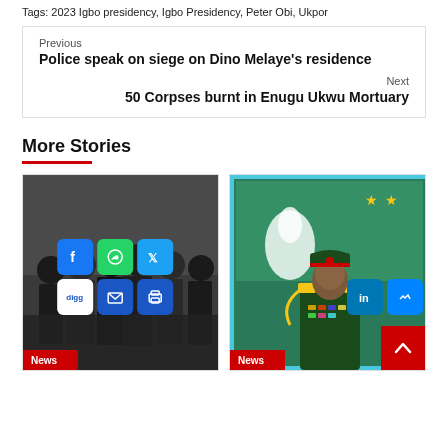Tags: 2023 Igbo presidency, Igbo Presidency, Peter Obi, Ukpor
Previous
Police speak on siege on Dino Melaye's residence
Next
50 Corpses burnt in Enugu Ukwu Mortuary
More Stories
[Figure (photo): Group of police officers in black uniforms viewed from behind]
[Figure (photo): Military officer in green uniform with decorations, standing in front of a flag with white horse emblem, framed with cyan border]